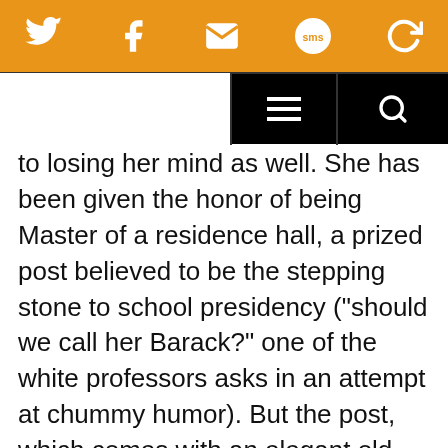Social sharing bar with Twitter, Facebook, Email, SMS, and share icons
Navigation bar with hamburger menu and search icon
to losing her mind as well. She has been given the honor of being Master of a residence hall, a prized post believed to be the stepping stone to school presidency (“should we call her Barack?” one of the white professors asks in an attempt at chummy humor). But the post, which comes with an elegant old house, turns out to be more a burden than a gift, since that house may come with a spirit who keeps ringing the bell in the creepy old servant’s quarters upstairs and visiting plagues of magg on the apparently unwelcome new resident.